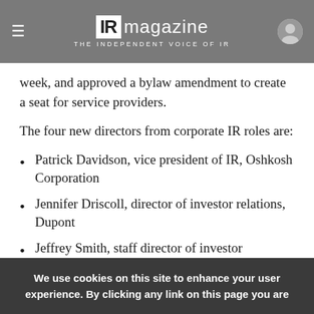IR magazine — THE INDEPENDENT VOICE OF IR
week, and approved a bylaw amendment to create a seat for service providers.
The four new directors from corporate IR roles are:
Patrick Davidson, vice president of IR, Oshkosh Corporation
Jennifer Driscoll, director of investor relations, Dupont
Jeffrey Smith, staff director of investor relations, FedEx Corporation
We use cookies on this site to enhance your user experience. By clicking any link on this page you are